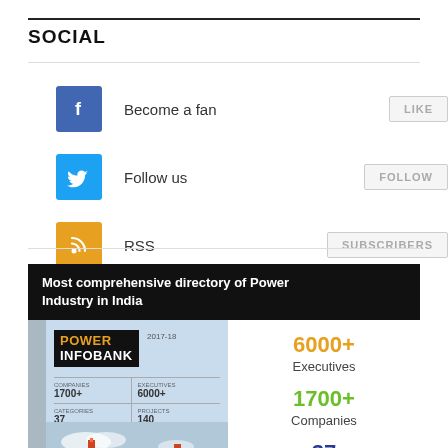SOCIAL
[Figure (infographic): Social media buttons: Facebook Become a fan LIKE, Twitter Follow us FOLLOW, RSS SUBSCRIBERS]
[Figure (infographic): Power Infobank 2017-18 directory advertisement. Most comprehensive directory of Power Industry in India. Book cover image showing POWER INFOBANK logo, Companies 1700+, Executives 6000+, Categories 37, Projects 140. Right side stats: 6000+ Executives, 1700+ Companies, 37 Categories.]